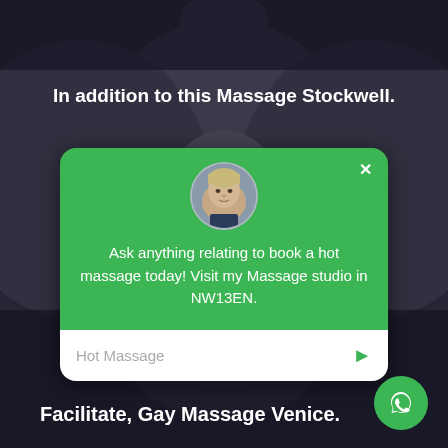[Figure (photo): Dark blurred background showing a shirtless person's torso and neck area]
In addition to this Massage Stockwell.
[Figure (screenshot): Green chat widget card with close button (x), circular avatar photo of a young man, message text 'Ask anything relating to book a hot massage today! Visit my Massage studio in NW13EN.', and a white input bar with 'Hot Massage' placeholder text and a green send arrow button]
Facilitate, Gay Massage Venice.